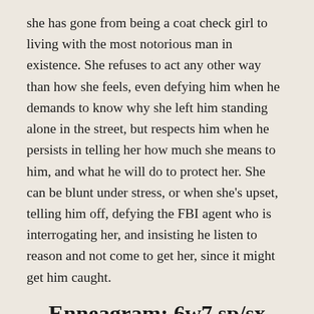she has gone from being a coat check girl to living with the most notorious man in existence. She refuses to act any other way than how she feels, even defying him when he demands to know why she left him standing alone in the street, but respects him when he persists in telling her how much she means to him, and what he will do to protect her. She can be blunt under stress, or when she's upset, telling him off, defying the FBI agent who is interrogating her, and insisting he listen to reason and not come to get her, since it might get him caught.
Enneagram: 6w7 sp/sx
At first, I thought Billie was a 9w8, but the more I thought about it, the more I realized she's a thinker—always planning for the future and considering the